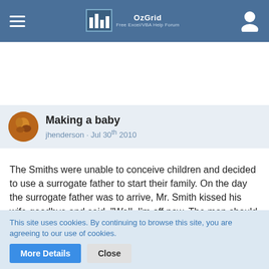OzGrid Free Excel/VBA Help Forum
Making a baby
jhenderson · Jul 30th 2010
The Smiths were unable to conceive children and decided to use a surrogate father to start their family. On the day the surrogate father was to arrive, Mr. Smith kissed his wife goodbye and said, "Well, I'm off now. The man should be here soon."
Half an hour later, just by chance, a door-to-door baby photographer happened to ring the doorbell, hoping to make a sale. "Good morning,Ma'am", he said, "I've come to..."
This site uses cookies. By continuing to browse this site, you are agreeing to our use of cookies.